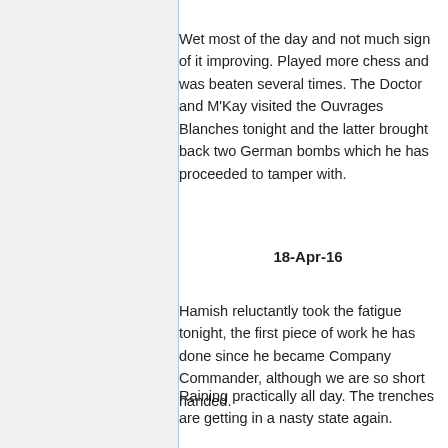Wet most of the day and not much sign of it improving. Played more chess and was beaten several times. The Doctor and M'Kay visited the Ouvrages Blanches tonight and the latter brought back two German bombs which he has proceeded to tamper with.
Hamish reluctantly took the fatigue tonight, the first piece of work he has done since he became Company Commander, although we are so short handed.
18-Apr-16
Raining practically all day. The trenches are getting in a nasty state again.